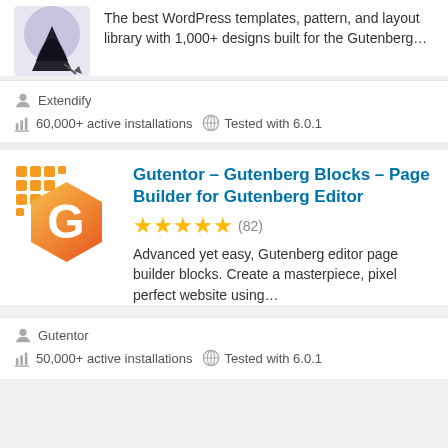[Figure (logo): Dark logo/icon partially cropped at top]
The best WordPress templates, pattern, and layout library with 1,000+ designs built for the Gutenberg…
Extendify
60,000+ active installations  Tested with 6.0.1
[Figure (logo): Gutentor orange hexagon logo with white G letter and pixel dots]
Gutentor – Gutenberg Blocks – Page Builder for Gutenberg Editor
★★★★★ (82)
Advanced yet easy, Gutenberg editor page builder blocks. Create a masterpiece, pixel perfect website using…
Gutentor
50,000+ active installations  Tested with 6.0.1